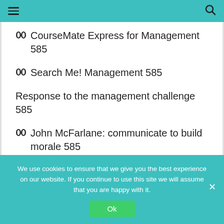≡  [menu icon]   [search icon]
CourseMate Express for Management 585
Search Me! Management 585
Response to the management challenge 585
John McFarlane: communicate to build morale 585
We use cookies to ensure that we give you the best experience on our website. If you continue to use this site we will assume that you are happy with it.
Ok